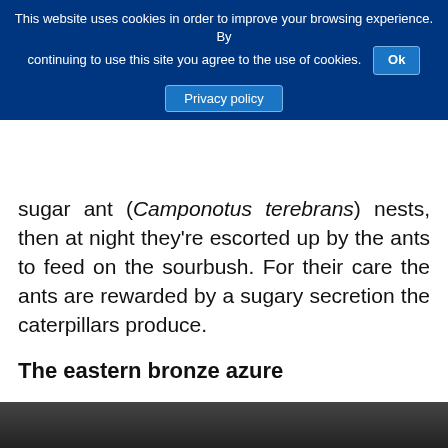This website uses cookies in order to improve your browsing experience. By continuing to use this site you agree to the use of cookies. Ok | Privacy policy
sugar ant (Camponotus terebrans) nests, then at night they're escorted up by the ants to feed on the sourbush. For their care the ants are rewarded by a sugary secretion the caterpillars produce.
The eastern bronze azure
Some relationships with ants are even more unusual. Kangaroo Island's other imperilled species — the eastern bronze azure — stays underground in sugar ant nests for 11 straight months. We don't yet know what they eat.
[Figure (photo): Bottom strip showing a partial photo, dark tones visible at the bottom of the page]